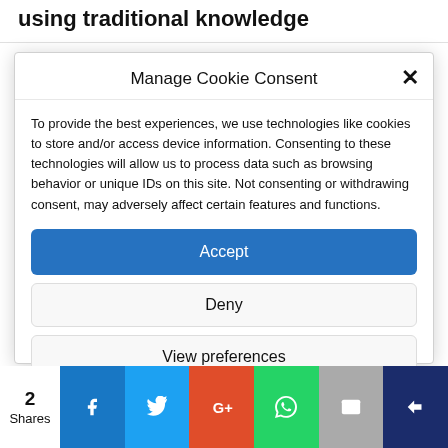using traditional knowledge
Manage Cookie Consent
To provide the best experiences, we use technologies like cookies to store and/or access device information. Consenting to these technologies will allow us to process data such as browsing behavior or unique IDs on this site. Not consenting or withdrawing consent, may adversely affect certain features and functions.
Accept
Deny
View preferences
Cookie Policy  Privacy policy
2 Shares